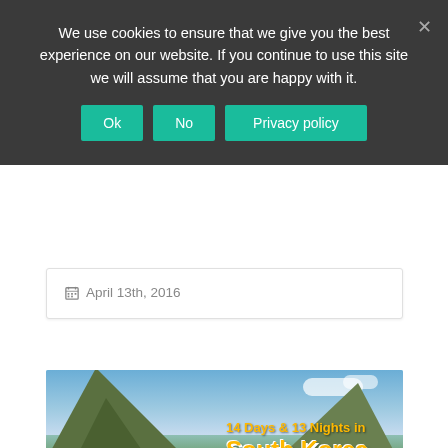We use cookies to ensure that we give you the best experience on our website. If you continue to use this site we will assume that you are happy with it.
Ok | No | Privacy policy
April 13th, 2016
[Figure (photo): Travel blog image showing Korean palace (Gyeongbokgung) with mountain backdrop and text overlay reading '14 Days & 13 Nights in South Korea']